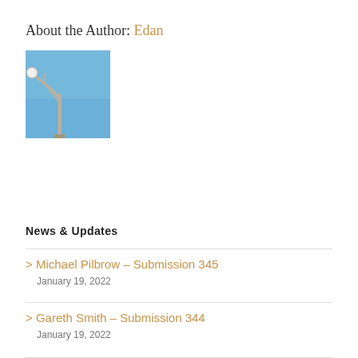About the Author: Edan
[Figure (photo): Profile photo showing a street lamp or pole against a blue sky with bare branches]
News & Updates
> Michael Pilbrow – Submission 345
January 19, 2022
> Gareth Smith – Submission 344
January 19, 2022